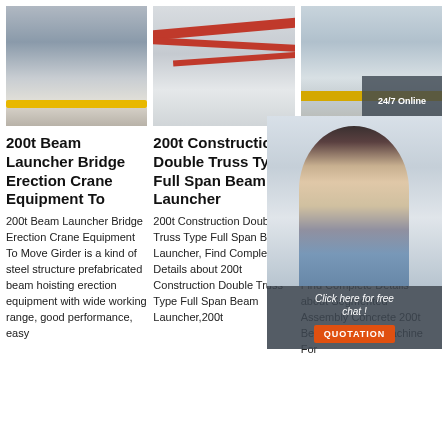[Figure (photo): Industrial crane inside a factory/warehouse with yellow beam overhead]
[Figure (photo): Industrial facility interior with red overhead beams/trusses]
[Figure (photo): Outdoor gantry crane with 24/7 Online customer service overlay and woman with headset]
200t Beam Launcher Bridge Erection Crane Equipment To
200t Beam Launcher Bridge Erection Crane Equipment To Move Girder is a kind of steel structure prefabricated beam hoisting erection equipment with wide working range, good performance, easy
200t Construction Double Truss Type Full Span Beam Launcher
200t Construction Double Truss Type Full Span Beam Launcher, Find Complete Details about 200t Construction Double Truss Type Full Span Beam Launcher,200t
Segmented Assembly Concrete 200t Beam Launcher
Segmented Assembly Concrete 200t Beam Launcher Machine For Highspeed Railway Project, Find Complete Details about Segmented Assembly Concrete 200t Beam Launcher Machine For